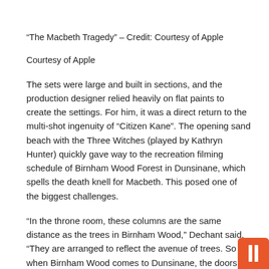“The Macbeth Tragedy” – Credit: Courtesy of Apple
Courtesy of Apple
The sets were large and built in sections, and the production designer relied heavily on flat paints to create the settings. For him, it was a direct return to the multi-shot ingenuity of “Citizen Kane”. The opening sand beach with the Three Witches (played by Kathryn Hunter) quickly gave way to the recreation filming schedule of Birnham Wood Forest in Dunsinane, which spells the death knell for Macbeth. This posed one of the biggest challenges.
“In the throne room, these columns are the same distance as the trees in Birnham Wood,” Dechant said. “They are arranged to reflect the avenue of trees. So when Birnham Wood comes to Dunsinane, the doors open, the leaves come in and flood the ground. Originally, it was going to be that. But it was Bruno who had the brilliant idea of bringing in the forest. So we introduced the matte paint on the sides.